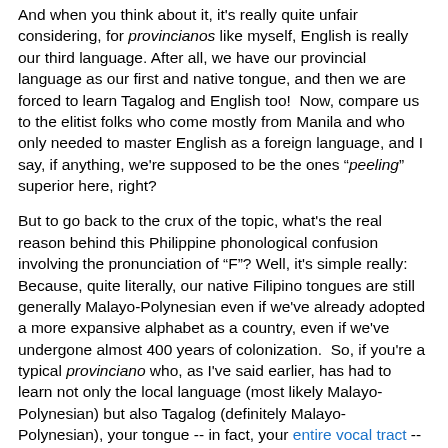And when you think about it, it's really quite unfair considering, for provincianos like myself, English is really our third language. After all, we have our provincial language as our first and native tongue, and then we are forced to learn Tagalog and English too!  Now, compare us to the elitist folks who come mostly from Manila and who only needed to master English as a foreign language, and I say, if anything, we're supposed to be the ones "peeling" superior here, right?
But to go back to the crux of the topic, what's the real reason behind this Philippine phonological confusion involving the pronunciation of "F"? Well, it's simple really: Because, quite literally, our native Filipino tongues are still generally Malayo-Polynesian even if we've already adopted a more expansive alphabet as a country, even if we've undergone almost 400 years of colonization.  So, if you're a typical provinciano who, as I've said earlier, has had to learn not only the local language (most likely Malayo-Polynesian) but also Tagalog (definitely Malayo-Polynesian), your tongue -- in fact, your entire vocal tract -- is just not naturally hard-wired for words with the "F" phoneme (or for that matter, the "V" phoneme). So, there you have your major English phonological disconnect.